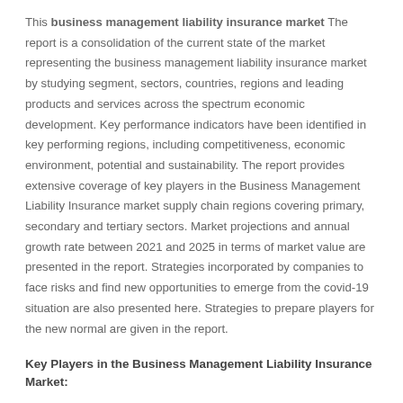This business management liability insurance market The report is a consolidation of the current state of the market representing the business management liability insurance market by studying segment, sectors, countries, regions and leading products and services across the spectrum economic development. Key performance indicators have been identified in key performing regions, including competitiveness, economic environment, potential and sustainability. The report provides extensive coverage of key players in the Business Management Liability Insurance market supply chain regions covering primary, secondary and tertiary sectors. Market projections and annual growth rate between 2021 and 2025 in terms of market value are presented in the report. Strategies incorporated by companies to face risks and find new opportunities to emerge from the covid-19 situation are also presented here. Strategies to prepare players for the new normal are given in the report.
Key Players in the Business Management Liability Insurance Market: